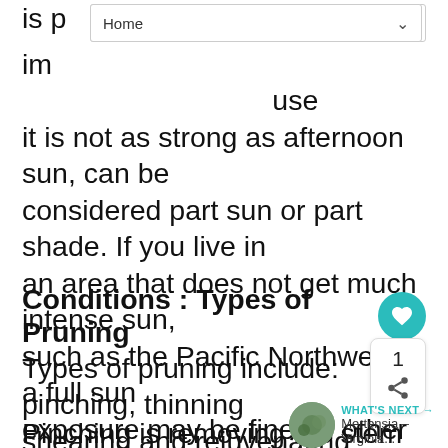Home
important to them. Often morning sun, because it is not as strong as afternoon sun, can be considered part sun or part shade. If you live in an area that does not get much intense sun, such as the Pacific Northwest, a full sun exposure may be fine. In other areas such as Florida, plant in a location where afternoon shade will be received.
Conditions : Types of Pruning
Types of pruning include: pinching, thinning, shearing and rejuvenating.
Pinching is removing the stem tips of a young plant to promote branching. Doing this avoids
WHAT'S NEXT → Mertensia – Virginia...